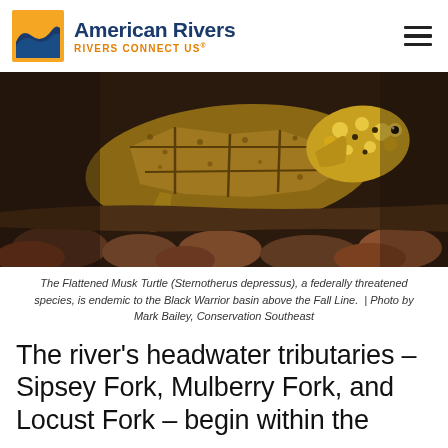[Figure (logo): American Rivers logo with orange square icon featuring blue wave, blue text 'American Rivers', orange text 'RIVERS CONNECT US']
[Figure (photo): Close-up photograph of a Flattened Musk Turtle (Sternotherus depressus) on rocks, showing patterned shell and yellow-spotted head]
The Flattened Musk Turtle (Sternotherus depressus), a federally threatened species, is endemic to the Black Warrior basin above the Fall Line.  | Photo by Mark Bailey, Conservation Southeast
The river's headwater tributaries – Sipsey Fork, Mulberry Fork, and Locust Fork – begin within the